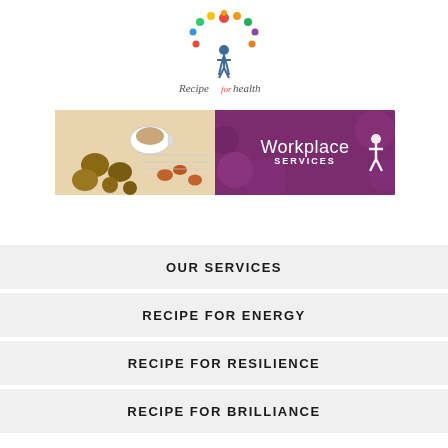[Figure (logo): Recipe for Health logo — colorful fruit/leaves tree above a figure, with text 'Recipe for health']
[Figure (photo): Banner image: left side shows nuts, dried fruit, coffee cup on a desk; right side is a purple/magenta panel with 'Workplace SERVICES' text and a human figure icon]
OUR SERVICES
RECIPE FOR ENERGY
RECIPE FOR RESILIENCE
RECIPE FOR BRILLIANCE